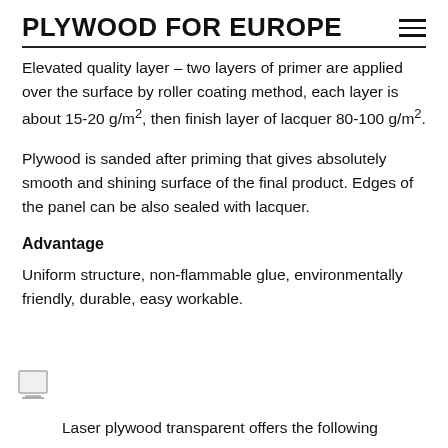PLYWOOD FOR EUROPE
Elevated quality layer – two layers of primer are applied over the surface by roller coating method, each layer is about 15-20 g/m², then finish layer of lacquer 80-100 g/m².
Plywood is sanded after priming that gives absolutely smooth and shining surface of the final product. Edges of the panel can be also sealed with lacquer.
Advantage
Uniform structure, non-flammable glue, environmentally friendly, durable, easy workable.
[Figure (illustration): Small icon of a monitor/screen with a line underneath]
Laser plywood transparent offers the following